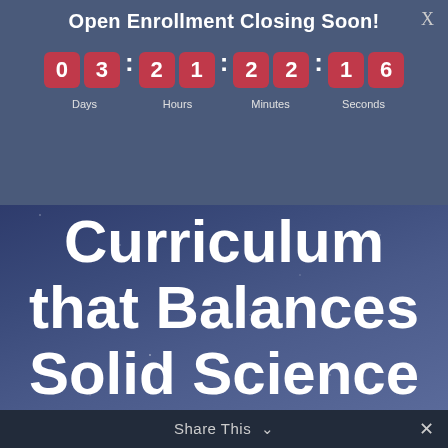Open Enrollment Closing Soon!
[Figure (infographic): Countdown timer showing 03 days : 21 hours : 22 minutes : 16 seconds with red digit boxes on a blue-gray background]
Days   Hours   Minutes   Seconds
an Open-and-Go" Curriculum that Balances Solid Science with a Biblical Worldview
Share This  ∨